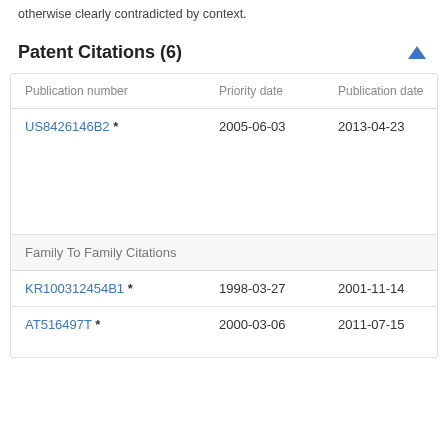otherwise clearly contradicted by context.
Patent Citations (6)
| Publication number | Priority date | Publication date | Ass |
| --- | --- | --- | --- |
| US8426146B2 * | 2005-06-03 | 2013-04-23 | Uni Pitt the Com Sys Hig Edu |
| Family To Family Citations |  |  |  |
| KR100312454B1 * | 1998-03-27 | 2001-11-14 | □□□ |
| AT516497T * | 2000-03-06 | 2011-07-15 | Ast Acc |